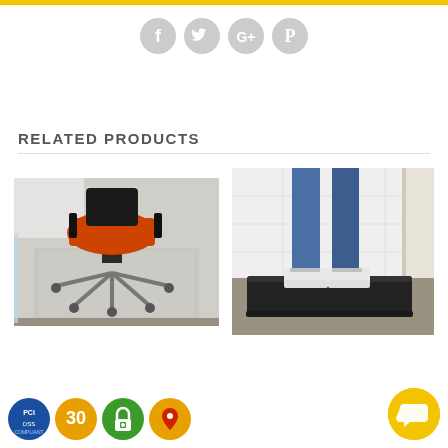[Figure (other): Top yellow horizontal bar]
[Figure (other): Social media icons row: Facebook, Twitter, Google+, Pinterest - grey circles with white logos]
RELATED PRODUCTS
[Figure (photo): Office chair mat on hard floor with orange rolling office chair underneath a glass desk]
[Figure (photo): Person standing on black anti-fatigue mat on carpet floor, wearing jeans and white sneakers]
[Figure (other): Trust badges: PCI blue badge, 30-day gold badge, green security lock badge, red map pin badge]
[Figure (other): Yellow circular chat button with speech bubble icon]